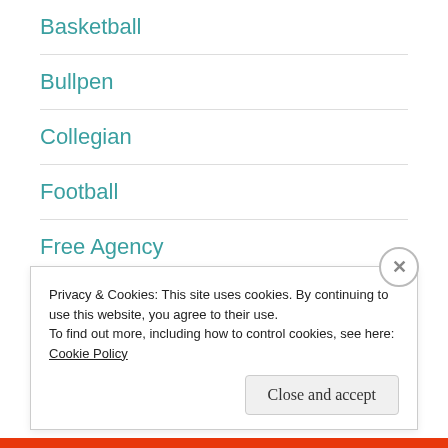Basketball
Bullpen
Collegian
Football
Free Agency
Good Stories
Grove City Sports
Privacy & Cookies: This site uses cookies. By continuing to use this website, you agree to their use.
To find out more, including how to control cookies, see here: Cookie Policy
Close and accept